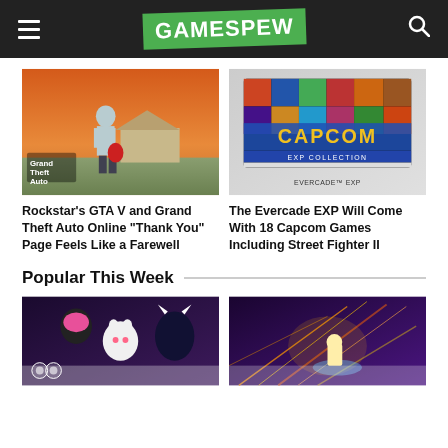GAMESPEW
[Figure (screenshot): GTA V character (Trevor) standing in front of a house with orange sky — Grand Theft Auto V promotional art]
Rockstar’s GTA V and Grand Theft Auto Online “Thank You” Page Feels Like a Farewell
[Figure (screenshot): Capcom EXP Collection cartridge artwork displayed on Evercade EXP handheld — colorful collage of Capcom game characters with CAPCOM logo and EXP COLLECTION text]
The Evercade EXP Will Come With 18 Capcom Games Including Street Fighter II
Popular This Week
[Figure (screenshot): Anime-style game screenshot with characters including pink-haired figure, white cat character, dark background]
[Figure (screenshot): Space shooter game screenshot with colorful light streaks and a character on glowing background]